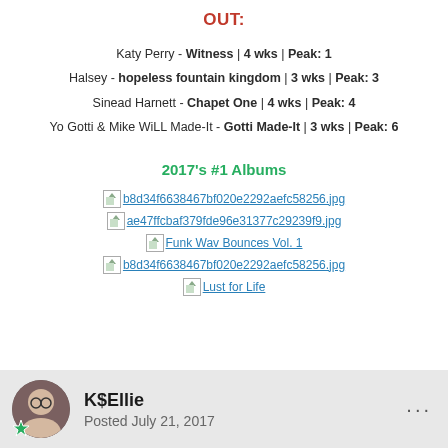OUT:
Katy Perry - Witness | 4 wks | Peak: 1
Halsey - hopeless fountain kingdom | 3 wks | Peak: 3
Sinead Harnett - Chapet One | 4 wks | Peak: 4
Yo Gotti & Mike WiLL Made-It - Gotti Made-It | 3 wks | Peak: 6
2017's #1 Albums
[Figure (other): Broken image placeholder: b8d34f6638467bf020e2292aefc58256.jpg]
[Figure (other): Broken image placeholder: ae47ffcbaf379fde96e31377c29239f9.jpg]
[Figure (other): Broken image placeholder: Funk Wav Bounces Vol. 1]
[Figure (other): Broken image placeholder: b8d34f6638467bf020e2292aefc58256.jpg]
[Figure (other): Broken image placeholder: Lust for Life]
K$Ellie
Posted July 21, 2017